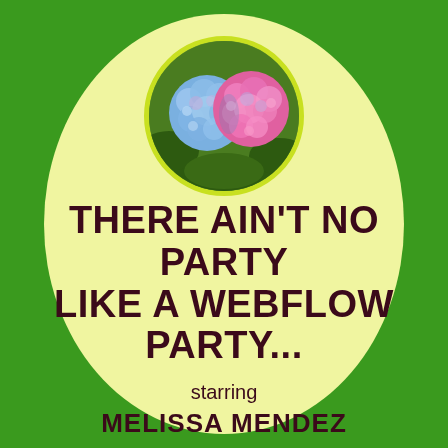[Figure (illustration): Circular medallion with yellow-green border containing painted hydrangea flowers in blue and pink/magenta colors on a green leafy background]
THERE AIN'T NO PARTY LIKE A WEBFLOW PARTY...
starring
MELISSA MENDEZ
Season 2
Episode 2